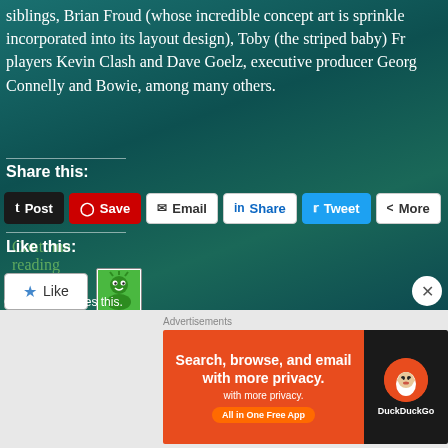siblings, Brian Froud (whose incredible concept art is sprinkled incorporated into its layout design), Toby (the striped baby) Fr players Kevin Clash and Dave Goelz, executive producer Georg Connelly and Bowie, among many others.
Continue reading →
Share this:
Like this:
One blogger likes this.
[Figure (screenshot): DuckDuckGo advertisement banner: orange left panel with text 'Search, browse, and email with more privacy. All in One Free App' and dark right panel with DuckDuckGo duck logo]